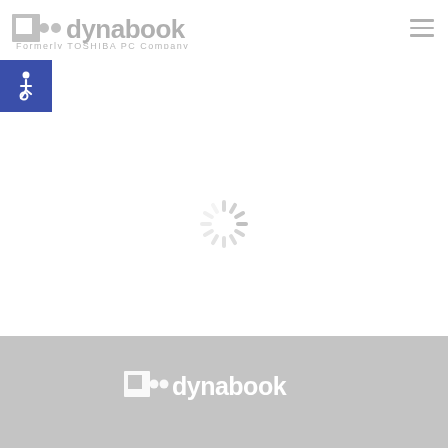[Figure (logo): Dynabook logo with icon and text 'dynabook', subtitle 'Formerly TOSHIBA PC Company']
[Figure (infographic): Blue accessibility (wheelchair) icon button in top-left corner]
[Figure (infographic): Loading spinner (circular dashed wheel) centered on white background]
[Figure (logo): Dynabook logo in white on gray footer background]